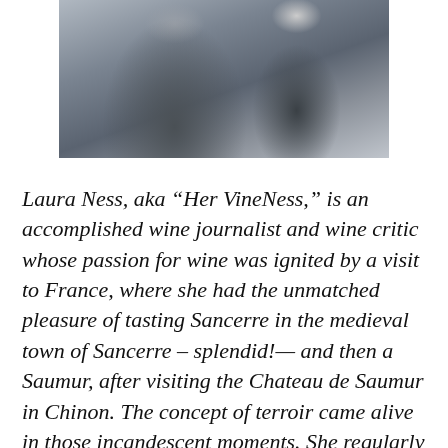[Figure (photo): Black and white photo of two people, cropped showing upper bodies, one in a grey sweater]
Laura Ness, aka “Her VineNess,” is an accomplished wine journalist and wine critic whose passion for wine was ignited by a visit to France, where she had the unmatched pleasure of tasting Sancerre in the medieval town of Sancerre – splendid!— and then a Saumur, after visiting the Chateau de Saumur in Chinon. The concept of terroir came alive in those incandescent moments. She regularly judges wine competitions and serves on the tasting panels of the Pinot